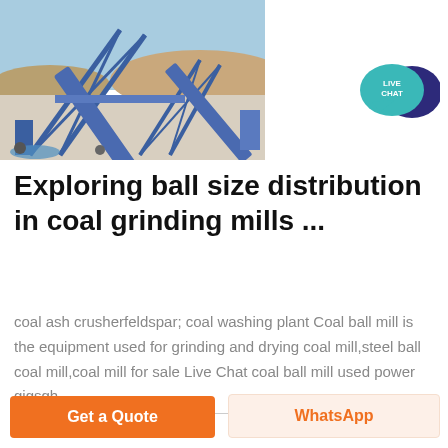[Figure (photo): Outdoor industrial coal processing or mining facility with blue steel conveyor structures and machinery under a clear sky, with rocky terrain in the background.]
[Figure (logo): Live Chat speech bubble icon — teal bubble with 'LIVE CHAT' text and a dark blue speech bubble behind it.]
Exploring ball size distribution in coal grinding mills ...
coal ash crusherfeldspar; coal washing plant Coal ball mill is the equipment used for grinding and drying coal mill,steel ball coal mill,coal mill for sale Live Chat coal ball mill used power gigsgh
Get a Quote
WhatsApp